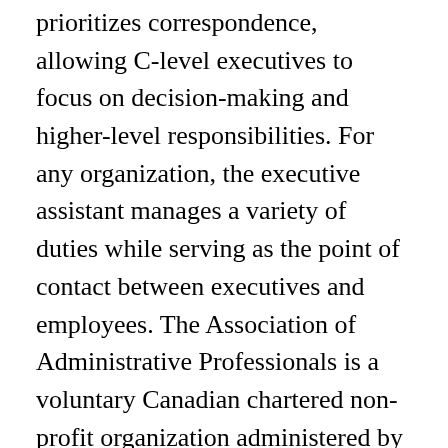prioritizes correspondence, allowing C-level executives to focus on decision-making and higher-level responsibilities. For any organization, the executive assistant manages a variety of duties while serving as the point of contact between executives and employees. The Association of Administrative Professionals is a voluntary Canadian chartered non-profit organization administered by its members for its members. Assistants can be required to possess a variety of skills to be effective in their jobs, including a mix of hard and soft skills. ESSENTIAL FUNCTIONS. Enhancing the value of office and administrative professionals and advocating for the profession. A successful executive administrative assistant will primarily